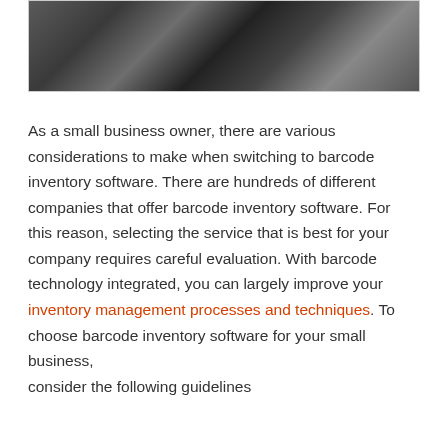[Figure (photo): Photo of a point-of-sale terminal / cash register system with barcode scanner hardware, dark background]
As a small business owner, there are various considerations to make when switching to barcode inventory software. There are hundreds of different companies that offer barcode inventory software. For this reason, selecting the service that is best for your company requires careful evaluation. With barcode technology integrated, you can largely improve your inventory management processes and techniques. To choose barcode inventory software for your small business, consider the following guidelines...